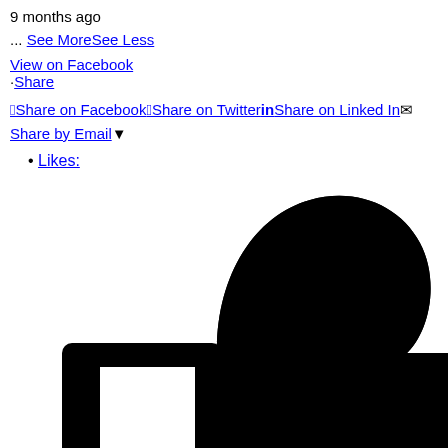9 months ago
... See MoreSee Less
View on Facebook
·Share
Share on Facebook  Share on Twitter  Share on Linked In  Share by Email▼
Likes:
[Figure (illustration): Large black thumbs-up like icon, cropped, showing the bottom portion of a Facebook-style like button icon]